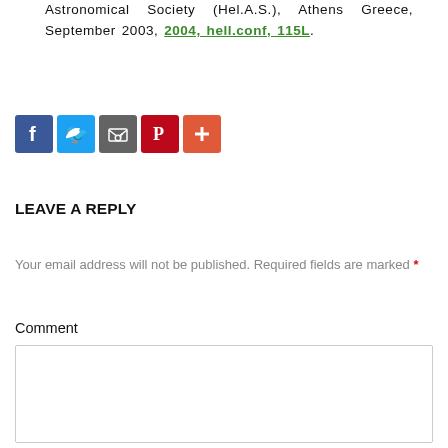Astronomical Society (Hel.A.S.), Athens Greece, September 2003, 2004, hell.conf, 115L.
[Figure (other): Social sharing icons: Facebook (blue), Twitter (blue), Email (grey), Pinterest (red), More/Plus (orange-red)]
LEAVE A REPLY
Your email address will not be published. Required fields are marked *
Comment